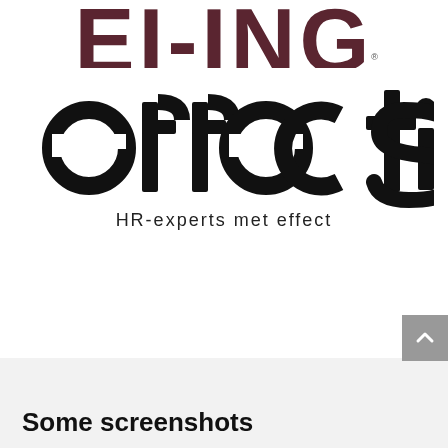[Figure (logo): Partial dark red/maroon bold text logo cropped at top, showing 'EI-ING' or similar letters cut off at page edge]
[Figure (logo): Effectis logo: large bold black lowercase text 'effectis' with stylized 'e' (circle with horizontal slash), tagline 'HR-experts met effect' below in spaced sans-serif]
Some screenshots